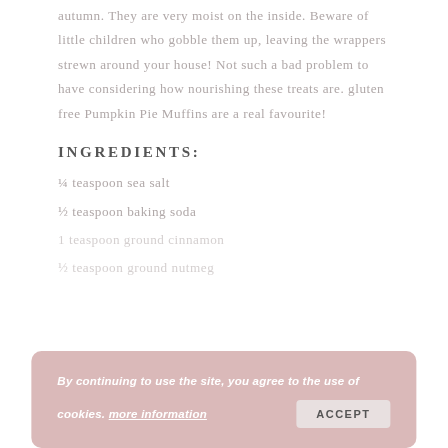autumn. They are very moist on the inside. Beware of little children who gobble them up, leaving the wrappers strewn around your house! Not such a bad problem to have considering how nourishing these treats are. gluten free Pumpkin Pie Muffins are a real favourite!
INGREDIENTS:
¼ teaspoon sea salt
½ teaspoon baking soda
1 teaspoon ground cinnamon
½ teaspoon ground nutmeg
By continuing to use the site, you agree to the use of cookies. more information
ACCEPT